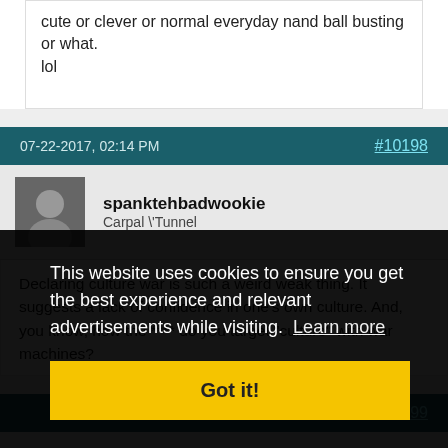cute or clever or normal everyday nand ball busting or what. lol
07-22-2017, 02:14 PM
#10198
spanktehbadwookie
Carpal \'Tunnel
Declaring culture war is such a weird weak thing. It suggests a lack of confidence in one's own culture. And, you know, how the **** do you target "culture" with war machines?
#10199
're the grit:)
This website uses cookies to ensure you get the best experience and relevant advertisements while visiting. Learn more
Got it!